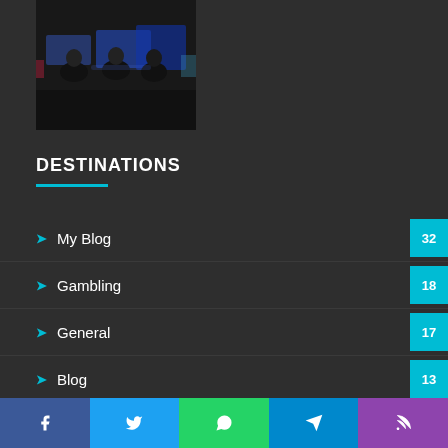[Figure (photo): Photo of people playing video games in a dark gaming environment, with glowing screens]
DESTINATIONS
My Blog 32
Gambling 18
General 17
Blog 13
Ecommerce 9
Web Design 8
Web Hosting 6
SEO
Social sharing bar: Facebook, Twitter, WhatsApp, Telegram, RSS